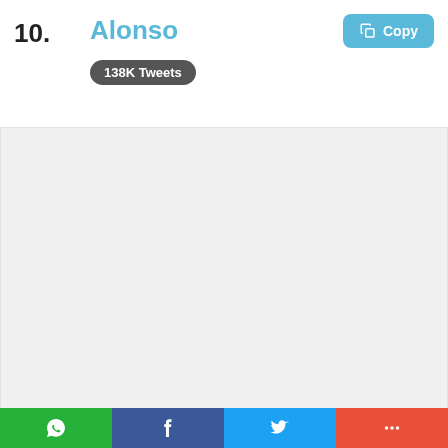10.
Alonso
138K Tweets
[Figure (other): Gray empty content area below the trending topic card]
[Figure (infographic): Social share bar with WhatsApp (green), Facebook (dark blue), Twitter (light blue), and More/Plus (red-orange) buttons]